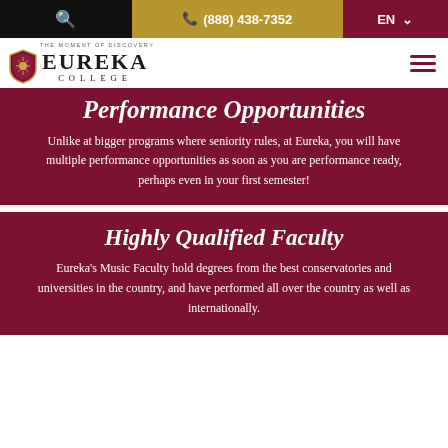🔍  📞 (888) 438-7352  EN ▾
[Figure (logo): Eureka College logo with shield emblem, tagline 'THE MOMENT OF DISCOVERY', and college name in serif font]
Performance Opportunities
Unlike at bigger programs where seniority rules, at Eureka, you will have multiple performance opportunities as soon as you are performance ready, perhaps even in your first semester!
Highly Qualified Faculty
Eureka's Music Faculty hold degrees from the best conservatories and universities in the country, and have performed all over the country as well as internationally.